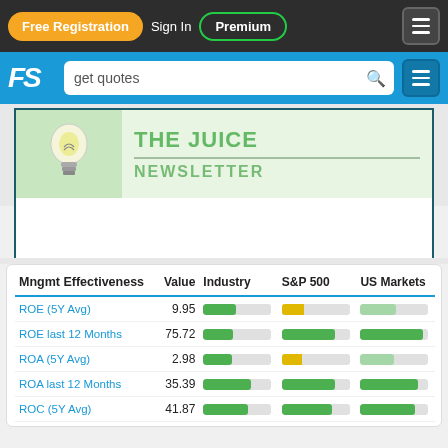Free Registration  Sign In  Premium
[Figure (screenshot): FS logo with search bar showing 'get quotes']
[Figure (illustration): The Juice Newsletter banner with lightbulb graphic]
| Mngmt Effectiveness | Value | Industry | S&P 500 | US Markets |
| --- | --- | --- | --- | --- |
| ROE (5Y Avg) | 9.95 | [bar] | [bar] | [bar] |
| ROE last 12 Months | 75.72 | [bar] | [bar] | [bar] |
| ROA (5Y Avg) | 2.98 | [bar] | [bar] | [bar] |
| ROA last 12 Months | 35.39 | [bar] | [bar] | [bar] |
| ROC (5Y Avg) | 41.87 | [bar] | [bar] | [bar] |